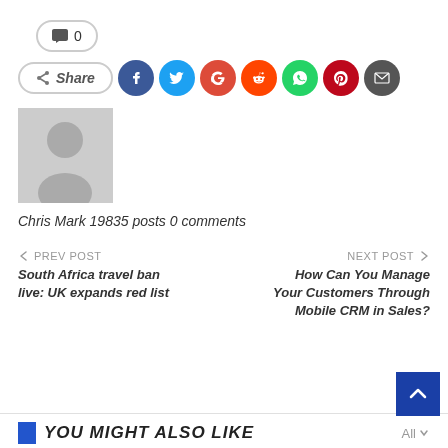💬 0
Share
[Figure (illustration): Author avatar placeholder - grey silhouette of a person on light grey background]
Chris Mark 19835 posts 0 comments
← PREV POST
South Africa travel ban live: UK expands red list
NEXT POST →
How Can You Manage Your Customers Through Mobile CRM in Sales?
YOU MIGHT ALSO LIKE
All